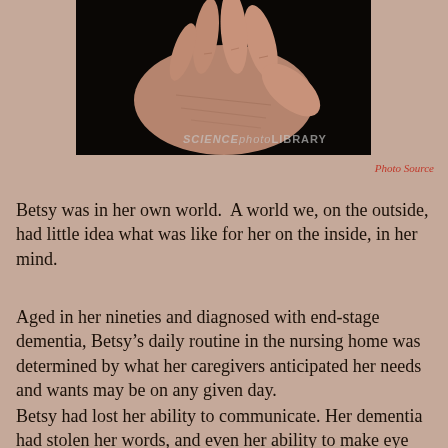[Figure (photo): Close-up photograph of elderly hands with wrinkled skin on a dark background, watermarked 'SCIENCEphotoLIBRARY']
Photo Source
Betsy was in her own world.  A world we, on the outside, had little idea what was like for her on the inside, in her mind.
Aged in her nineties and diagnosed with end-stage dementia, Betsy’s daily routine in the nursing home was determined by what her caregivers anticipated her needs and wants may be on any given day.
Betsy had lost her ability to communicate. Her dementia had stolen her words, and even her ability to make eye contact. The staff tried to keep her comfortable while d...